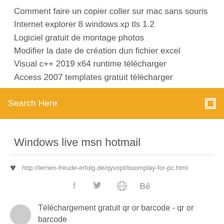Comment faire un copier coller sur mac sans souris
Internet explorer 8 windows xp tls 1.2
Logiciel gratuit de montage photos
Modifier la date de création dun fichier excel
Visual c++ 2019 x64 runtime télécharger
Access 2007 templates gratuit télécharger
Search Here
Windows live msn hotmail
http://lernen-freude-erfolg.de/qyvopt/boomplay-for-pc.html
Téléchargement gratuit qr or barcode - qr or barcode pour Windows